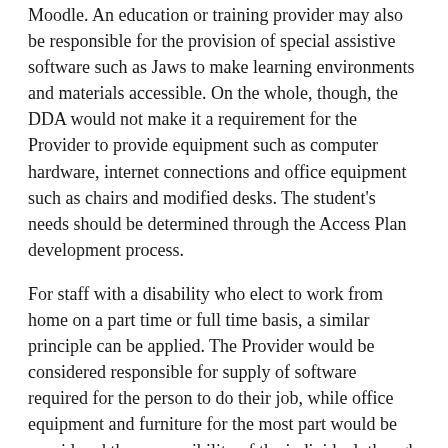Moodle. An education or training provider may also be responsible for the provision of special assistive software such as Jaws to make learning environments and materials accessible. On the whole, though, the DDA would not make it a requirement for the Provider to provide equipment such as computer hardware, internet connections and office equipment such as chairs and modified desks. The student's needs should be determined through the Access Plan development process.
For staff with a disability who elect to work from home on a part time or full time basis, a similar principle can be applied. The Provider would be considered responsible for supply of software required for the person to do their job, while office equipment and furniture for the most part would be considered the responsibility of the individual, though this might be negotiated between employer and employee and provision of a laptop etc may be commonly provided. Any other equipment might be provided through the Employment Assistance Fund